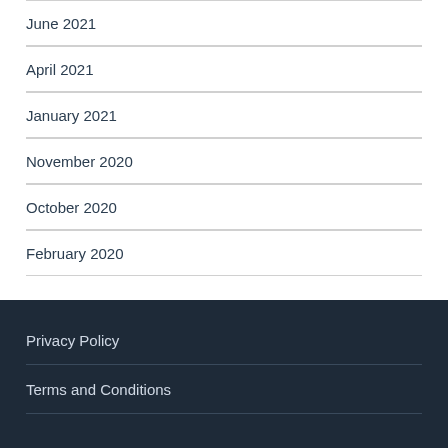June 2021
April 2021
January 2021
November 2020
October 2020
February 2020
Privacy Policy
Terms and Conditions